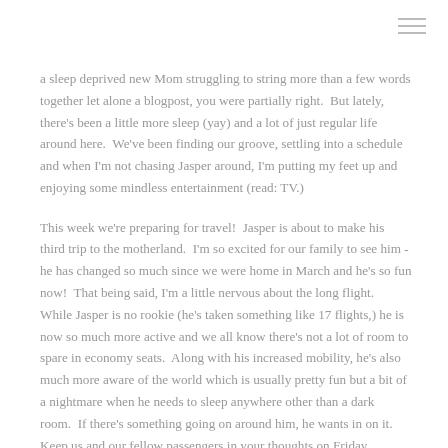a sleep deprived new Mom struggling to string more than a few words together let alone a blogpost, you were partially right.  But lately, there's been a little more sleep (yay) and a lot of just regular life around here.  We've been finding our groove, settling into a schedule and when I'm not chasing Jasper around, I'm putting my feet up and enjoying some mindless entertainment (read: TV.)
This week we're preparing for travel!  Jasper is about to make his third trip to the motherland.  I'm so excited for our family to see him - he has changed so much since we were home in March and he's so fun now!  That being said, I'm a little nervous about the long flight.  While Jasper is no rookie (he's taken something like 17 flights,) he is now so much more active and we all know there's not a lot of room to spare in economy seats.  Along with his increased mobility, he's also much more aware of the world which is usually pretty fun but a bit of a nightmare when he needs to sleep anywhere other than a dark room.  If there's something going on around him, he wants in on it.  Keep us and our fellow passengers in your thoughts on Friday.